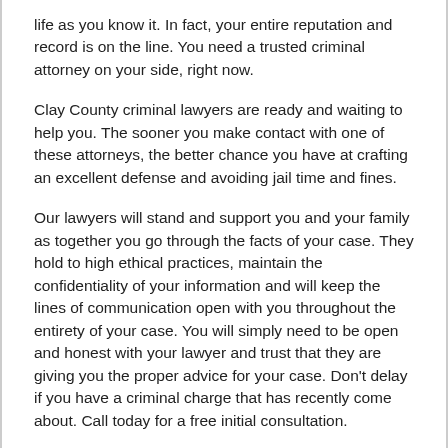life as you know it. In fact, your entire reputation and record is on the line. You need a trusted criminal attorney on your side, right now.
Clay County criminal lawyers are ready and waiting to help you. The sooner you make contact with one of these attorneys, the better chance you have at crafting an excellent defense and avoiding jail time and fines.
Our lawyers will stand and support you and your family as together you go through the facts of your case. They hold to high ethical practices, maintain the confidentiality of your information and will keep the lines of communication open with you throughout the entirety of your case. You will simply need to be open and honest with your lawyer and trust that they are giving you the proper advice for your case. Don't delay if you have a criminal charge that has recently come about. Call today for a free initial consultation.
Our Clay County Attorneys Areas of Practice